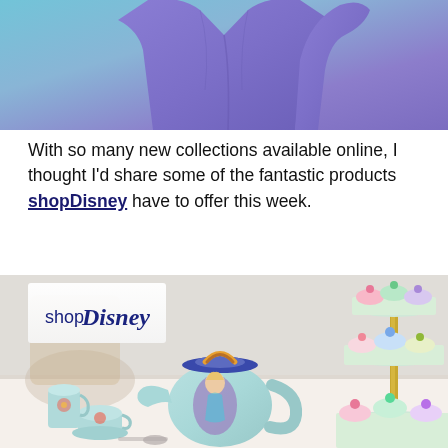[Figure (photo): Person wearing a purple/violet long-sleeve top against a blue-to-teal gradient background, photographed from chest up with arm raised]
With so many new collections available online, I thought I'd share some of the fantastic products shopDisney have to offer this week.
[Figure (photo): shopDisney logo and product photo showing Alice in Wonderland themed tea set with light blue teapot decorated with Alice illustration, small cups, and a tiered stand with pastel coloured cakes/cupcakes]